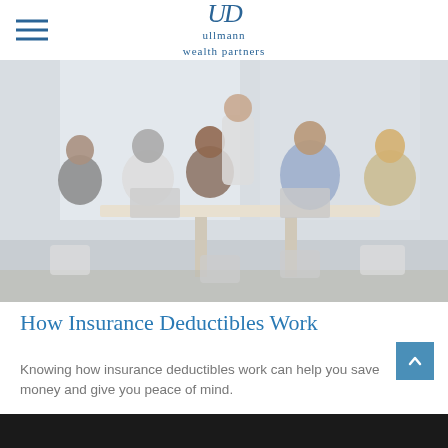ullmann wealth partners
[Figure (photo): Group of business professionals sitting around a conference table with laptops, engaged in a meeting discussion.]
How Insurance Deductibles Work
Knowing how insurance deductibles work can help you save money and give you peace of mind.